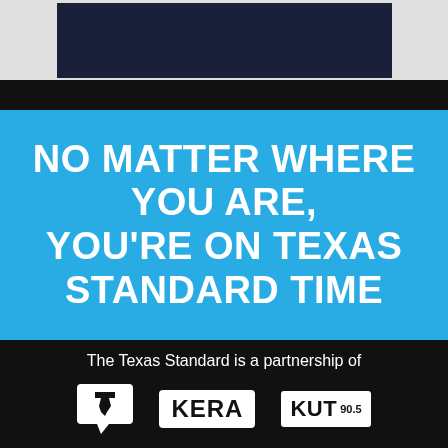[Figure (photo): Top portion of page showing a dark-colored photo/image partially visible, with a dark navy rectangle centered on a light gray background, and a black bar beneath]
NO MATTER WHERE YOU ARE, YOU'RE ON TEXAS STANDARD TIME
The Texas Standard is a partnership of
[Figure (logo): Three logos in a row on a black background: Texas Standard logo (speech bubble with Texas shape), KERA logo (white rectangle with bold KERA text), KUT 90.5 logo (white rectangle with KUT 90.5 text)]